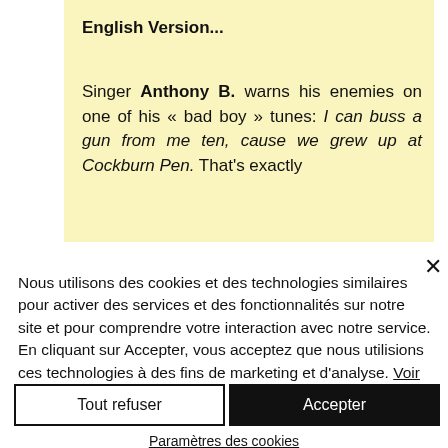English Version...
Singer Anthony B. warns his enemies on one of his « bad boy » tunes: I can buss a gun from me ten, cause we grew up at Cockburn Pen. That's exactly
Nous utilisons des cookies et des technologies similaires pour activer des services et des fonctionnalités sur notre site et pour comprendre votre interaction avec notre service. En cliquant sur Accepter, vous acceptez que nous utilisions ces technologies à des fins de marketing et d'analyse. Voir la politique de confidentialité
Tout refuser
Accepter
Paramètres des cookies